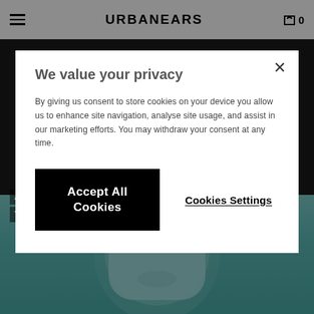URBANEARS
We value your privacy
By giving us consent to store cookies on your device you allow us to enhance site navigation, analyse site usage, and assist in our marketing efforts. You may withdraw your consent at any time.
Accept All Cookies
Cookies Settings
AND NEVER SPEND ANOTHER MINUTE DETANGLING YOUR EARBUDS.
[Figure (photo): Product photo of Urbanears earbuds in teal/mint color against a matching teal background]